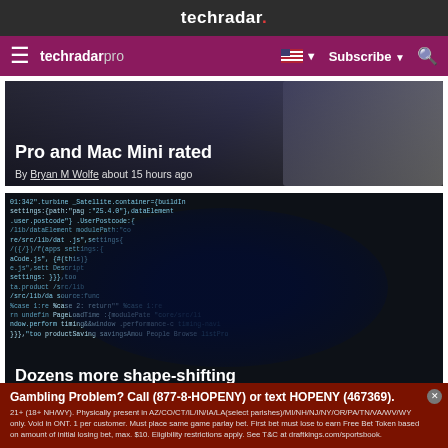techradar.
techradar pro  Subscribe
[Figure (screenshot): Partial article image showing a laptop/device with title overlay: Pro and Mac Mini rated]
Pro and Mac Mini rated
By Bryan M Wolfe about 15 hours ago
[Figure (screenshot): Code editor screenshot showing JavaScript/programming code with dark blue overlay]
Dozens more shape-shifting malicious Android apps discovered
Gambling Problem? Call (877-8-HOPENY) or text HOPENY (467369). 21+ (18+ NH/WY). Physically present in AZ/CO/CT/IL/IN/IA/LA(select parishes)/MI/NH/NJ/NY/OR/PA/TN/VA/WV/WY only. Void in ONT. 1 per customer. Must place same game parlay bet. First bet must lose to earn Free Bet Token based on amount of initial losing bet, max. $10. Eligibility restrictions apply. See T&C at draftkings.com/sportsbook.